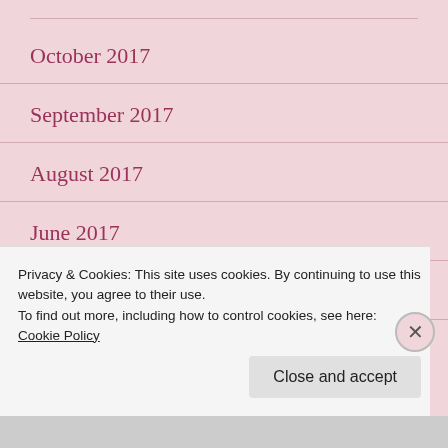October 2017
September 2017
August 2017
June 2017
May 2017
April 2017
Privacy & Cookies: This site uses cookies. By continuing to use this website, you agree to their use.
To find out more, including how to control cookies, see here: Cookie Policy
Close and accept